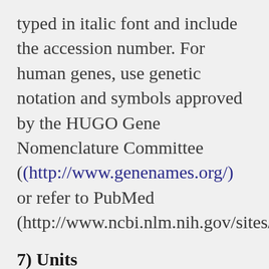typed in italic font and include the accession number. For human genes, use genetic notation and symbols approved by the HUGO Gene Nomenclature Committee (http://www.genenames.org/) or refer to PubMed (http://www.ncbi.nlm.nih.gov/sites/
7) Units
Système International (SI) units must be used, with the exception of blood pressure values, which